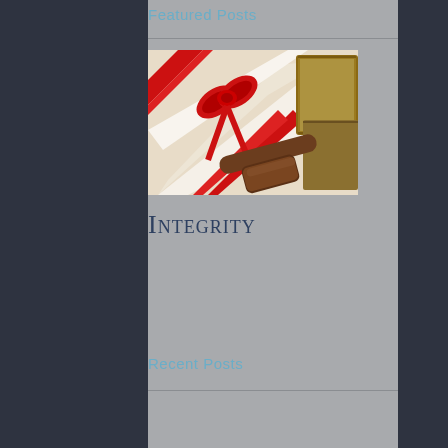Featured Posts
[Figure (photo): Legal documents tied with a red ribbon bow and a wooden gavel, with old leather-bound books in the background.]
Integrity
Recent Posts